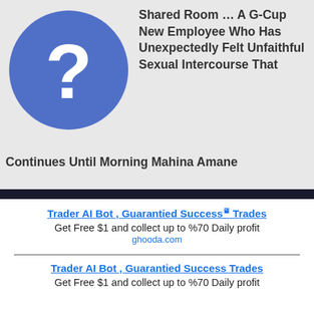[Figure (logo): Blue circle with white question mark icon]
Shared Room … A G-Cup New Employee Who Has Unexpectedly Felt Unfaithful Sexual Intercourse That Continues Until Morning Mahina Amane
Trader AI Bot , Guarantied Success Trades
Get Free $1 and collect up to %70 Daily profit
ghooda.com
Trader AI Bot , Guarantied Success Trades
Get Free $1 and collect up to %70 Daily profit